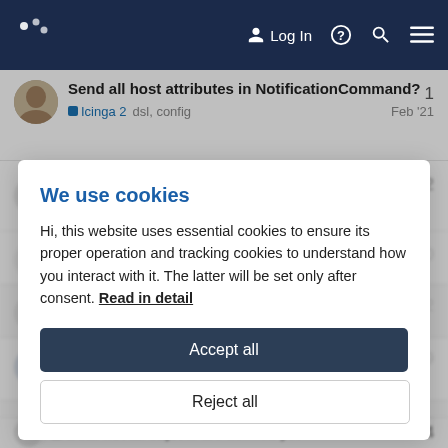Log In
Send all host attributes in NotificationCommand? — Icinga 2  dsl, config — Feb '21 — 1
Monitoring Icinga 2 features — 2
We use cookies

Hi, this website uses essential cookies to ensure its proper operation and tracking cookies to understand how you interact with it. The latter will be set only after consent. Read in detail
Accept all
Reject all
DSL: not all objects are defined yet — 4